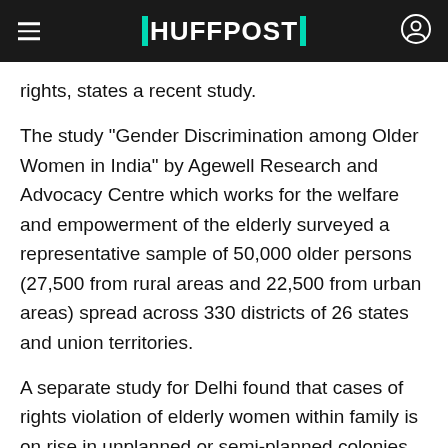HUFFPOST
rights, states a recent study.
The study "Gender Discrimination among Older Women in India" by Agewell Research and Advocacy Centre which works for the welfare and empowerment of the elderly surveyed a representative sample of 50,000 older persons (27,500 from rural areas and 22,500 from urban areas) spread across 330 districts of 26 states and union territories.
A separate study for Delhi found that cases of rights violation of elderly women within family is on rise in unplanned or semi-planned colonies of the national capital compared to those in its